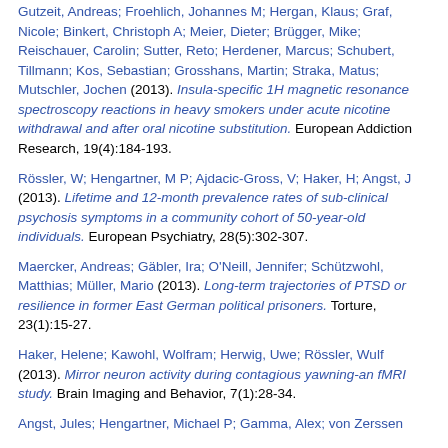Gutzeit, Andreas; Froehlich, Johannes M; Hergan, Klaus; Graf, Nicole; Binkert, Christoph A; Meier, Dieter; Brügger, Mike; Reischauer, Carolin; Sutter, Reto; Herdener, Marcus; Schubert, Tillmann; Kos, Sebastian; Grosshans, Martin; Straka, Matus; Mutschler, Jochen (2013). Insula-specific 1H magnetic resonance spectroscopy reactions in heavy smokers under acute nicotine withdrawal and after oral nicotine substitution. European Addiction Research, 19(4):184-193.
Rössler, W; Hengartner, M P; Ajdacic-Gross, V; Haker, H; Angst, J (2013). Lifetime and 12-month prevalence rates of sub-clinical psychosis symptoms in a community cohort of 50-year-old individuals. European Psychiatry, 28(5):302-307.
Maercker, Andreas; Gäbler, Ira; O'Neill, Jennifer; Schützwohl, Matthias; Müller, Mario (2013). Long-term trajectories of PTSD or resilience in former East German political prisoners. Torture, 23(1):15-27.
Haker, Helene; Kawohl, Wolfram; Herwig, Uwe; Rössler, Wulf (2013). Mirror neuron activity during contagious yawning-an fMRI study. Brain Imaging and Behavior, 7(1):28-34.
Angst, Jules; Hengartner, Michael P; Gamma, Alex; von Zerssen...